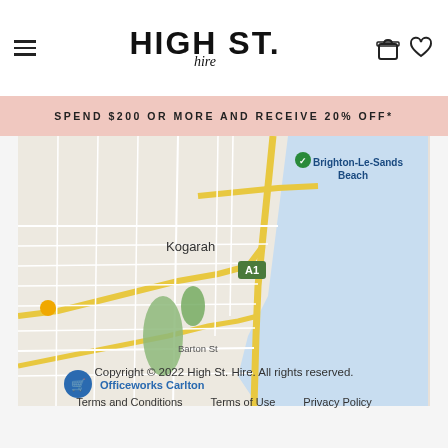[Figure (logo): HIGH ST. hire logo with hamburger menu and icons]
SPEND $200 OR MORE AND RECEIVE 20% OFF*
[Figure (map): Google Maps view of Kogarah area near Brighton-Le-Sands Beach, Sydney. Shows Officeworks Carlton, Barton St, A1 highway, and coastline.]
Copyright © 2022 High St. Hire. All rights reserved.
Terms and Conditions   Terms of Use   Privacy Policy